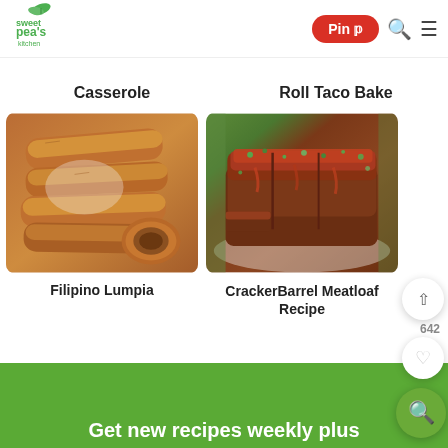[Figure (logo): Sweet Pea's Kitchen logo – green leaf and text]
Pin
Casserole
Roll Taco Bake
[Figure (photo): Filipino Lumpia – golden fried spring rolls on a plate]
Filipino Lumpia
[Figure (photo): Cracker Barrel Meatloaf Recipe – glazed meatloaf slices with green garnish]
CrackerBarrel Meatloaf Recipe
642
Get new recipes weekly plus